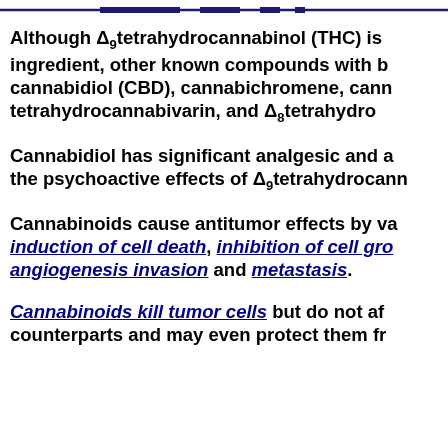Although Δ9tetrahydrocannabinol (THC) is the primary psychoactive ingredient, other known compounds with biological activity include cannabidiol (CBD), cannabichromene, cannabigerol, tetrahydrocannabivarin, and Δ8tetrahydro...
Cannabidiol has significant analgesic and anti-inflammatory activity without the psychoactive effects of Δ9tetrahydrocann...
Cannabinoids cause antitumor effects by various mechanisms, including induction of cell death, inhibition of cell growth, and inhibition of angiogenesis invasion and metastasis.
Cannabinoids kill tumor cells but do not affect their nontransformed counterparts and may even protect them fr...